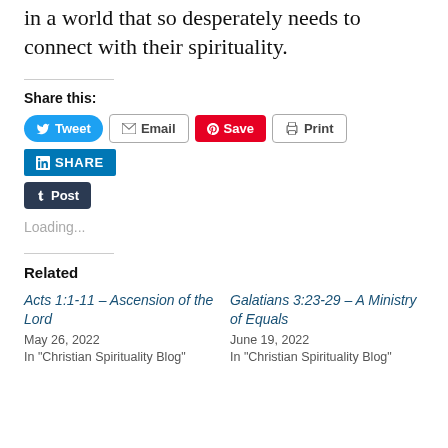in a world that so desperately needs to connect with their spirituality.
Share this:
Tweet | Email | Save | Print | SHARE | Post
Loading...
Related
Acts 1:1-11 – Ascension of the Lord
May 26, 2022
In "Christian Spirituality Blog"
Galatians 3:23-29 – A Ministry of Equals
June 19, 2022
In "Christian Spirituality Blog"